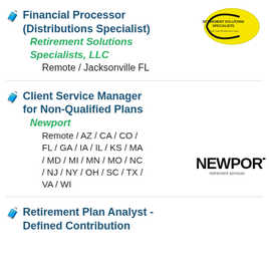Financial Processor (Distributions Specialist) — Retirement Solutions Specialists, LLC — Remote / Jacksonville FL
[Figure (logo): Retirement Solutions Specialists logo: yellow oval with company name text inside]
Client Service Manager for Non-Qualified Plans — Newport — Remote / AZ / CA / CO / FL / GA / IA / IL / KS / MA / MD / MI / MN / MO / NC / NJ / NY / OH / SC / TX / VA / WI
[Figure (logo): Newport retirement services logo: black bold NEWPORT text with 'retirement services' below]
Retirement Plan Analyst - Defined Contribution